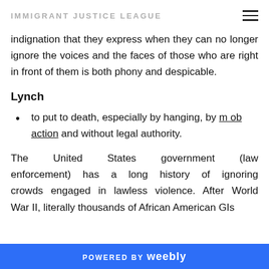IMMIGRANT JUSTICE LEAGUE
indignation that they express when they can no longer ignore the voices and the faces of those who are right in front of them is both phony and despicable.
Lynch
to put to death, especially by hanging, by mob action and without legal authority.
The United States government (law enforcement) has a long history of ignoring crowds engaged in lawless violence. After World War II, literally thousands of African American GIs
POWERED BY weebly